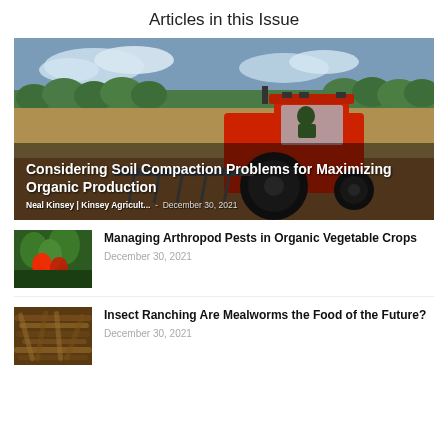Articles in this Issue
[Figure (photo): A red tractor plowing a field with a green tree line and blue cloudy sky in the background. Overlay text: 'Considering Soil Compaction Problems for Maximizing Organic Production' by Neal Kinsey | Kinsey Agricultural... - December 30, 2021]
[Figure (photo): Thumbnail image of a red flower/plant against green leaves]
Managing Arthropod Pests in Organic Vegetable Crops
December 30, 2021
[Figure (photo): Thumbnail image of mealworms/dried insects]
Insect Ranching Are Mealworms the Food of the Future?
December 30, 2021